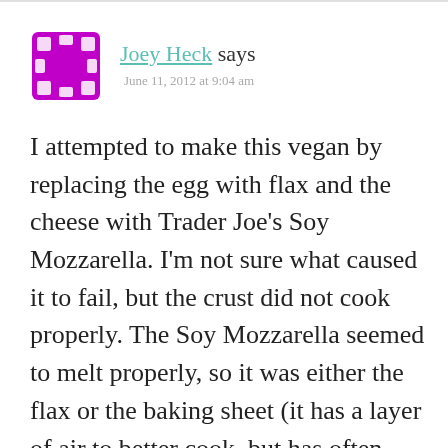[Figure (illustration): Purple avatar icon resembling a film reel or decorative square with cutout dots on edges]
Joey Heck says
June 11, 2012 at 9:04 am
I attempted to make this vegan by replacing the egg with flax and the cheese with Trader Joe's Soy Mozzarella. I'm not sure what caused it to fail, but the crust did not cook properly. The Soy Mozzarella seemed to melt properly, so it was either the flax or the baking sheet (it has a layer of air to better cook, but has often caused uneven results). I'm going to try again